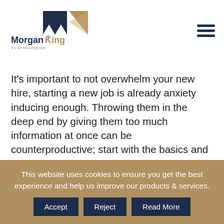[Figure (logo): MorganKing logo with navy and gold geometric shapes and tagline 'It's all about people']
It's important to not overwhelm your new hire, starting a new job is already anxiety inducing enough. Throwing them in the deep end by giving them too much information at once can be counterproductive; start with the basics and allow your employee to get settled into their new role first.
This website uses cookies to ensure you get the best experience and help us improve our products & services.